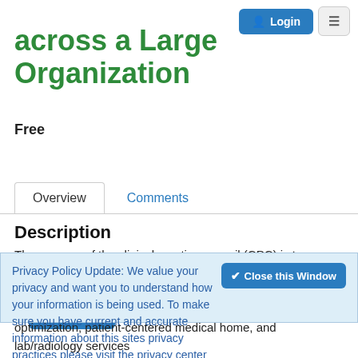Login  ☰
across a Large Organization
Free
Access Content
Overview   Comments
Description
The purpose of the clinical practice council (CPC) is to provide education for the clinic leads, clinic supervisors, and clinic
Privacy Policy Update: We value your privacy and want you to understand how your information is being used. To make sure you have current and accurate information about this sites privacy practices please visit the privacy center by clicking here.
optimization, patient-centered medical home, and lab/radiology services